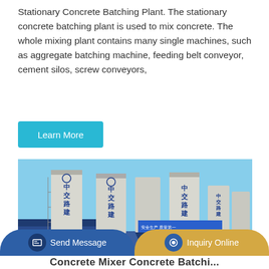Stationary Concrete Batching Plant. The stationary concrete batching plant is used to mix concrete. The whole mixing plant contains many single machines, such as aggregate batching machine, feeding belt conveyor, cement silos, screw conveyors,
[Figure (other): Blue 'Learn More' button with cyan background]
[Figure (photo): Photo of a stationary concrete batching plant showing multiple large white and blue cement silos with Chinese text '中交路建' on them, blue metal structures, against a clear blue sky.]
[Figure (other): Bottom navigation bar with 'Send Message' button (blue) and 'Inquiry Online' button (gold/tan), each with circular icons.]
Concrete Mixer Concrete Batching...